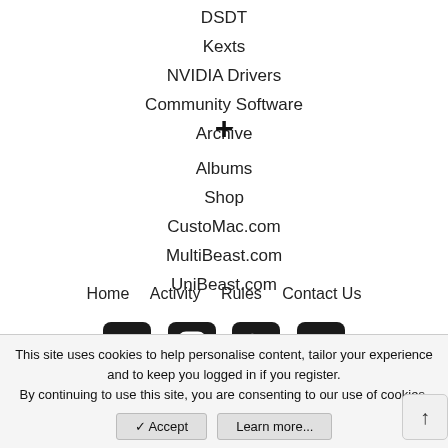DSDT
Kexts
NVIDIA Drivers
Community Software
Archive
+
Albums
Shop
CustoMac.com
MultiBeast.com
UniBeast.com
Home  Activity  Rules  Contact Us
[Figure (infographic): Social media icons: Facebook, Instagram, Twitter, RSS feed]
This site uses cookies to help personalise content, tailor your experience and to keep you logged in if you register.
By continuing to use this site, you are consenting to our use of cookies.
✓ Accept    Learn more...